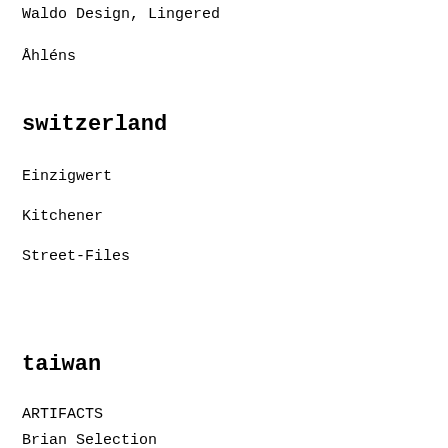Waldo Design, Lingered
Åhléns
switzerland
Einzigwert
Kitchener
Street-Files
taiwan
ARTIFACTS
Brian Selection